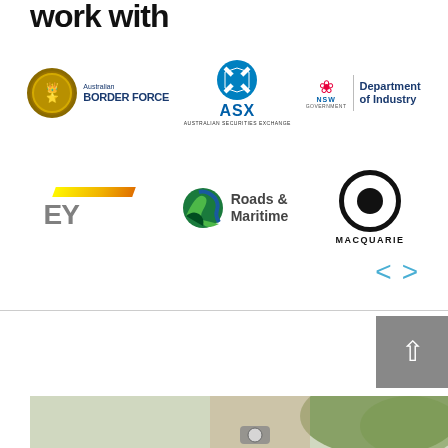work with
[Figure (logo): Australian Border Force logo with badge and text]
[Figure (logo): ASX Australian Securities Exchange logo]
[Figure (logo): NSW Government Department of Industry logo]
[Figure (logo): EY logo with yellow bar]
[Figure (logo): Roads & Maritime logo]
[Figure (logo): Macquarie logo with concentric circles]
[Figure (photo): Navigation arrows (< >) for carousel]
[Figure (photo): Back to top button with upward arrow]
[Figure (photo): Partial photo of person wearing watch outdoors]